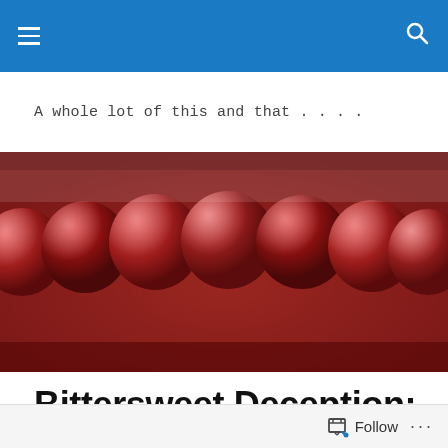A whole lot of this and that . . . .
[Figure (photo): Close-up photograph of dark red cherries or berries with a glossy, jam-like appearance arranged together in a row, filling the full width of the image.]
Bittersweet Deception: Chocolate Mousse Cake with Mocha Topping